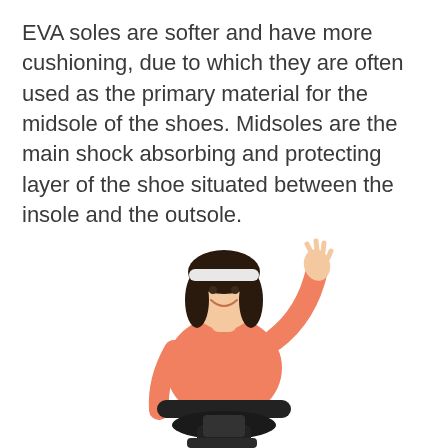EVA soles are softer and have more cushioning, due to which they are often used as the primary material for the midsole of the shoes. Midsoles are the main shock absorbing and protecting layer of the shoe situated between the insole and the outsole.
[Figure (photo): A plus-size woman wearing a pink tank top and white headband, sitting on an exercise bike, smiling and waving her right hand upward, isolated on white background.]